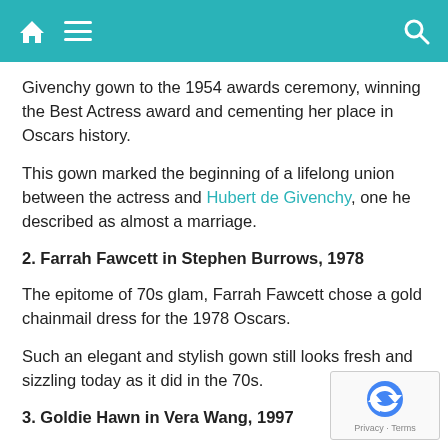[navigation bar with home, menu, and search icons]
Givenchy gown to the 1954 awards ceremony, winning the Best Actress award and cementing her place in Oscars history.
This gown marked the beginning of a lifelong union between the actress and Hubert de Givenchy, one he described as almost a marriage.
2. Farrah Fawcett in Stephen Burrows, 1978
The epitome of 70s glam, Farrah Fawcett chose a gold chainmail dress for the 1978 Oscars.
Such an elegant and stylish gown still looks fresh and sizzling today as it did in the 70s.
3. Goldie Hawn in Vera Wang, 1997